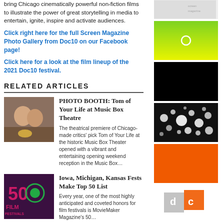bring Chicago cinematically powerful non-fiction films to illustrate the power of great storytelling in media to entertain, ignite, inspire and activate audiences.
Click right here for the full Screen Magazine Photo Gallery from Doc10 on our Facebook page!
Click here for a look at the film lineup of the 2021 Doc10 festival.
RELATED ARTICLES
[Figure (photo): Two women smiling at an event, one holding flowers]
PHOTO BOOTH: Tom of Your Life at Music Box Theatre
The theatrical premiere of Chicago-made critics’ pick Tom of Your Life at the historic Music Box Theater opened with a vibrant and entertaining opening weekend reception in the Music Box…
[Figure (logo): 50 Film Festivals logo with film reel icon]
Iowa, Michigan, Kansas Fests Make Top 50 List
Every year, one of the most highly anticipated and coveted honors for film festivals is MovieMaker Magazine’s 50…
[Figure (photo): Small thumbnail image in right sidebar (top)]
[Figure (other): Green to yellow gradient box with circle outline]
[Figure (photo): Black rectangle]
[Figure (photo): Bubbles on dark background]
[Figure (other): Orange rectangle]
[Figure (logo): Partial orange and grey logo at bottom right]